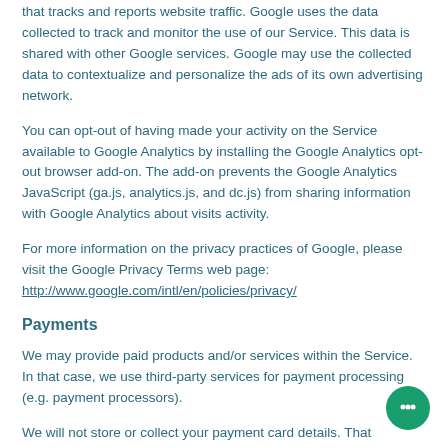that tracks and reports website traffic. Google uses the data collected to track and monitor the use of our Service. This data is shared with other Google services. Google may use the collected data to contextualize and personalize the ads of its own advertising network.
You can opt-out of having made your activity on the Service available to Google Analytics by installing the Google Analytics opt-out browser add-on. The add-on prevents the Google Analytics JavaScript (ga.js, analytics.js, and dc.js) from sharing information with Google Analytics about visits activity.
For more information on the privacy practices of Google, please visit the Google Privacy Terms web page: http://www.google.com/intl/en/policies/privacy/
Payments
We may provide paid products and/or services within the Service. In that case, we use third-party services for payment processing (e.g. payment processors).
We will not store or collect your payment card details. That